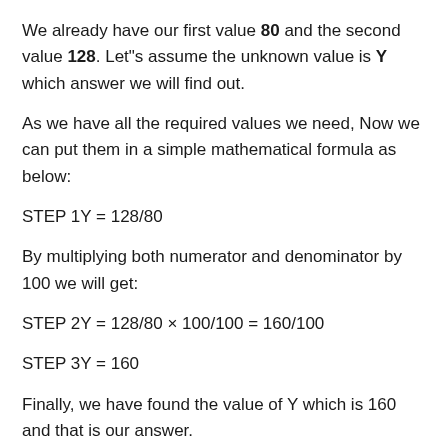We already have our first value 80 and the second value 128. Let"s assume the unknown value is Y which answer we will find out.
As we have all the required values we need, Now we can put them in a simple mathematical formula as below:
By multiplying both numerator and denominator by 100 we will get:
Finally, we have found the value of Y which is 160 and that is our answer.
You can use a calculator to find what percent of 80